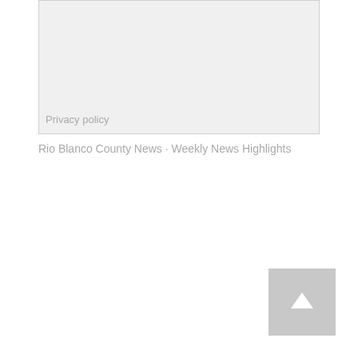[Figure (other): Gray rectangular box representing a content/privacy policy area with 'Privacy policy' label at bottom left]
Privacy policy
Rio Blanco County News · Weekly News Highlights